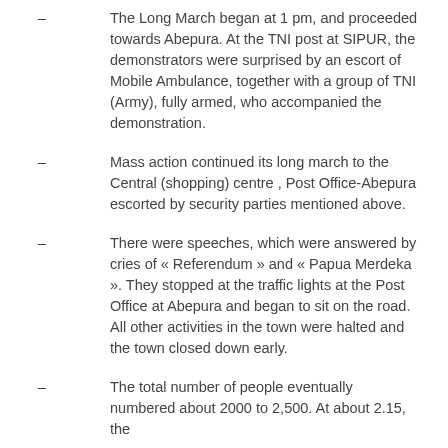– The Long March began at 1 pm, and proceeded towards Abepura. At the TNI post at SIPUR, the demonstrators were surprised by an escort of Mobile Ambulance, together with a group of TNI (Army), fully armed, who accompanied the demonstration.
– Mass action continued its long march to the Central (shopping) centre , Post Office-Abepura escorted by security parties mentioned above.
– There were speeches, which were answered by cries of « Referendum » and « Papua Merdeka ». They stopped at the traffic lights at the Post Office at Abepura and began to sit on the road. All other activities in the town were halted and the town closed down early.
– The total number of people eventually numbered about 2000 to 2,500. At about 2.15, the